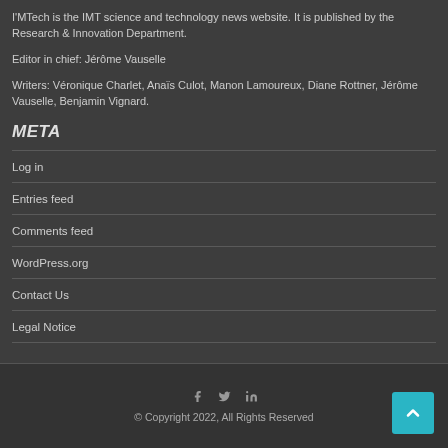I'MTech is the IMT science and technology news website. It is published by the Research & Innovation Department.
Editor in chief: Jérôme Vauselle
Writers: Véronique Charlet, Anaïs Culot, Manon Lamoureux, Diane Rottner, Jérôme Vauselle, Benjamin Vignard.
META
Log in
Entries feed
Comments feed
WordPress.org
Contact Us
Legal Notice
© Copyright 2022, All Rights Reserved